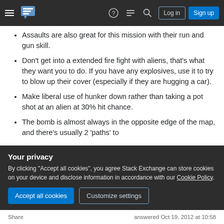Stack Exchange navigation bar with logo, help, chat, search, log in, sign up
Assaults are also great for this mission with their run and gun skill.
Don't get into a extended fire fight with aliens, that's what they want you to do. If you have any explosives, use it to try to blow up their cover (especially if they are hugging a car).
Make liberal use of hunker down rather than taking a pot shot at an alien at 30% hit chance.
The bomb is almost always in the opposite edge of the map, and there's usually 2 'paths' to
Your privacy
By clicking "Accept all cookies", you agree Stack Exchange can store cookies on your device and disclose information in accordance with our Cookie Policy.
Share     answered Oct 19, 2012 at 10:58